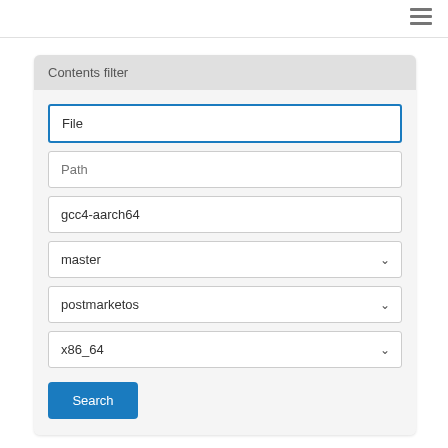Contents filter
File
Path
gcc4-aarch64
master
postmarketos
x86_64
Search